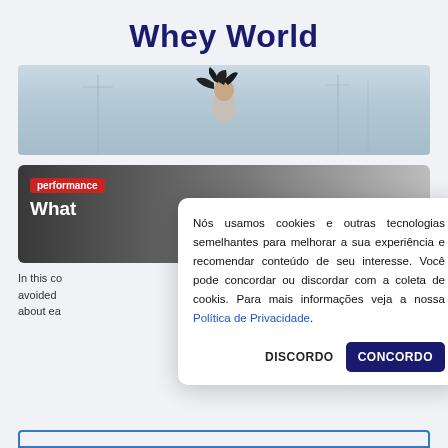Whey World
[Figure (photo): Wide banner photo of a woman with dark curly hair running, light blue sky background with utility poles, shot from front at low angle.]
performance
What
In this co avoided about ea
Nós usamos cookies e outras tecnologias semelhantes para melhorar a sua experiência e recomendar conteúdo de seu interesse. Você pode concordar ou discordar com a coleta de cookis. Para mais informações veja a nossa Política de Privacidade.
DISCORDO
CONCORDO